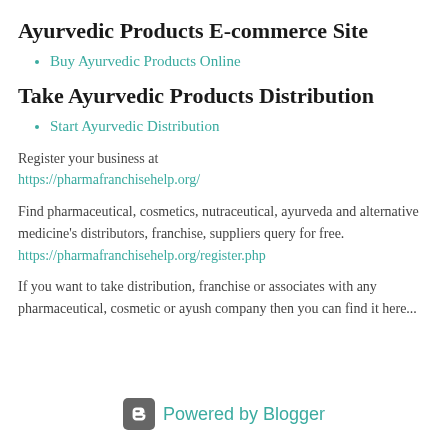Ayurvedic Products E-commerce Site
Buy Ayurvedic Products Online
Take Ayurvedic Products Distribution
Start Ayurvedic Distribution
Register your business at https://pharmafranchisehelp.org/
Find pharmaceutical, cosmetics, nutraceutical, ayurveda and alternative medicine's distributors, franchise, suppliers query for free. https://pharmafranchisehelp.org/register.php
If you want to take distribution, franchise or associates with any pharmaceutical, cosmetic or ayush company then you can find it here...
Powered by Blogger